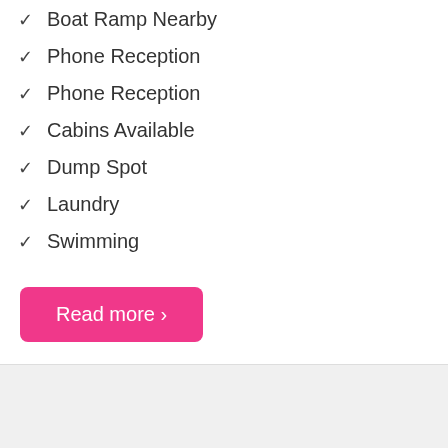✓ Boat Ramp Nearby
✓ Phone Reception
✓ Phone Reception
✓ Cabins Available
✓ Dump Spot
✓ Laundry
✓ Swimming
Read more ›
[Figure (other): Gray banner advertisement area]
Aircamp Australia
Find campsites Australia-wide, easy & free.
INSTALL